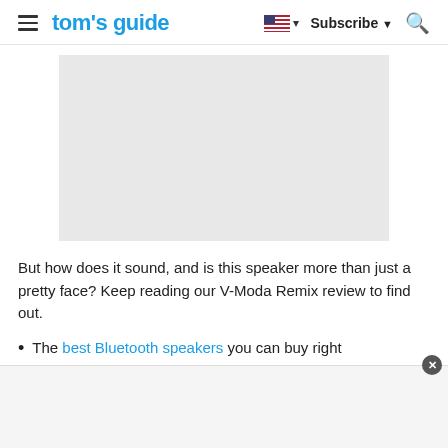tom's guide | Subscribe
[Figure (photo): Gray placeholder image for V-Moda Remix speaker product photo]
But how does it sound, and is this speaker more than just a pretty face? Keep reading our V-Moda Remix review to find out.
The best Bluetooth speakers you can buy right
[Figure (other): Advertisement banner at page bottom with close button]